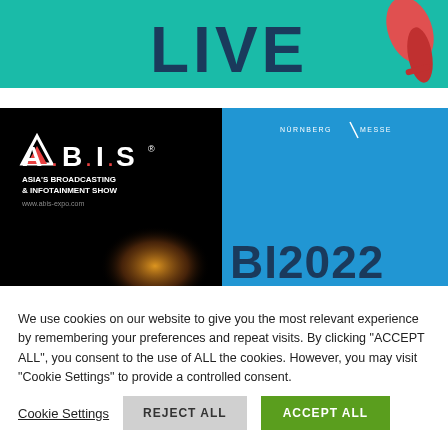[Figure (illustration): Top banner with teal/green background showing large bold dark blue text 'LIVE' and a partial figure of a person on the right side]
[Figure (illustration): A.B.I.S - Asia's Broadcasting & Infotainment Show banner split into black left side with logo and blue right side showing 'BI2022' text and Nürnberg Messe logo]
We use cookies on our website to give you the most relevant experience by remembering your preferences and repeat visits. By clicking "ACCEPT ALL", you consent to the use of ALL the cookies. However, you may visit "Cookie Settings" to provide a controlled consent.
Cookie Settings
REJECT ALL
ACCEPT ALL